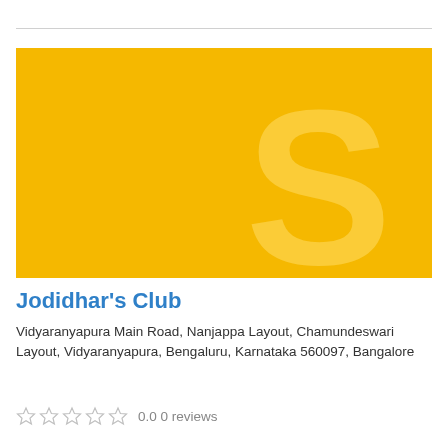[Figure (illustration): Yellow background image with a large faded 'S' letter watermark, representing Jodidhar's Club listing placeholder image]
Jodidhar's Club
Vidyaranyapura Main Road, Nanjappa Layout, Chamundeswari Layout, Vidyaranyapura, Bengaluru, Karnataka 560097, Bangalore
0.0 0 reviews